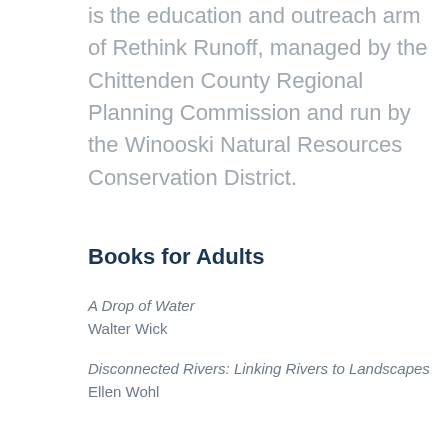is the education and outreach arm of Rethink Runoff, managed by the Chittenden County Regional Planning Commission and run by the Winooski Natural Resources Conservation District.
Books for Adults
A Drop of Water
Walter Wick
Disconnected Rivers: Linking Rivers to Landscapes
Ellen Wohl